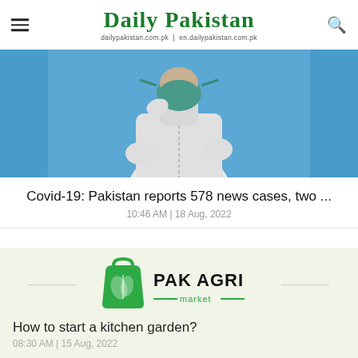Daily Pakistan | dailypakistan.com.pk | en.dailypakistan.com.pk
[Figure (photo): A person in white protective hazmat suit and face mask/shield, photographed from chest up against a blue background]
Covid-19: Pakistan reports 578 news cases, two ...
10:46 AM | 18 Aug, 2022
[Figure (logo): PAK AGRI market logo — green shopping bag with wheat leaf icon and text PAK AGRI market]
How to start a kitchen garden?
08:30 AM | 15 Aug, 2022